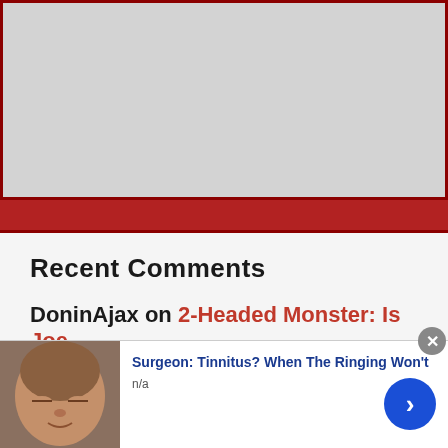[Figure (other): Gray placeholder image area with dark red border]
Recent Comments
DoninAjax on 2-Headed Monster: Is Joe
[Figure (screenshot): Advertisement overlay: photo of person, title 'Surgeon: Tinnitus? When The Ringing Won't', subtitle 'n/a', close button, arrow button]